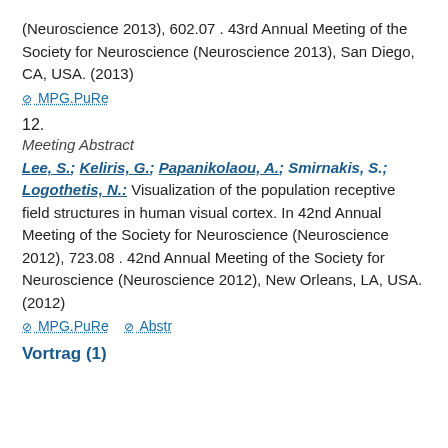(Neuroscience 2013), 602.07 . 43rd Annual Meeting of the Society for Neuroscience (Neuroscience 2013), San Diego, CA, USA. (2013)
MPG.PuRe
12.
Meeting Abstract
Lee, S.; Keliris, G.; Papanikolaou, A.; Smirnakis, S.; Logothetis, N.: Visualization of the population receptive field structures in human visual cortex. In 42nd Annual Meeting of the Society for Neuroscience (Neuroscience 2012), 723.08 . 42nd Annual Meeting of the Society for Neuroscience (Neuroscience 2012), New Orleans, LA, USA. (2012)
MPG.PuRe   Abstr
Vortrag (1)